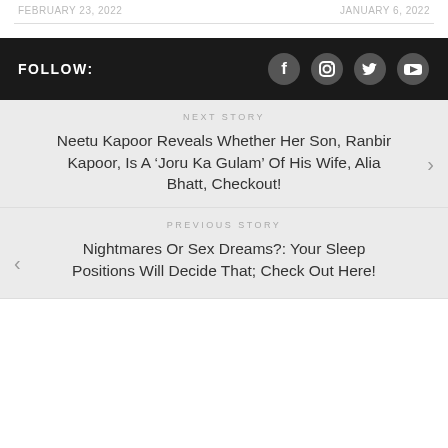FEBRUARY 23, 2022   JANUARY 6, 2022
FOLLOW:
NEXT STORY
Neetu Kapoor Reveals Whether Her Son, Ranbir Kapoor, Is A ‘Joru Ka Gulam’ Of His Wife, Alia Bhatt, Checkout!
PREVIOUS STORY
Nightmares Or Sex Dreams?: Your Sleep Positions Will Decide That; Check Out Here!